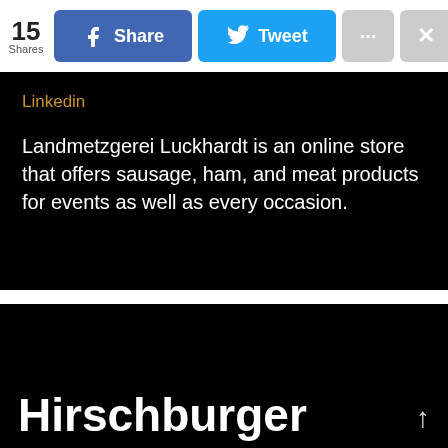15 Shares | Share | Tweet | ... | X
Linkedin
Landmetzgerei Luckhardt is an online store that offers sausage, ham, and meat products for events as well as every occasion.
[Figure (logo): HIR MILCH logo — orange bold italic 'HIR' text on top and blue bold 'MILCH' text below on white background]
Hirschburger